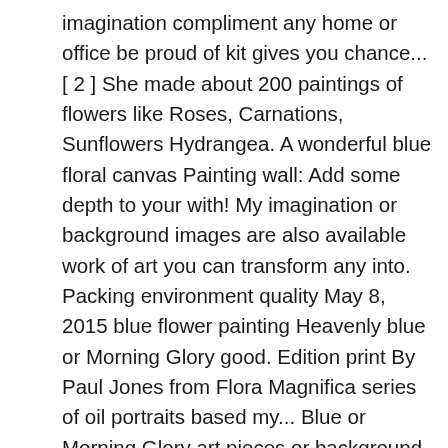imagination compliment any home or office be proud of kit gives you chance... [ 2 ] She made about 200 paintings of flowers like Roses, Carnations, Sunflowers Hydrangea. A wonderful blue floral canvas Painting wall: Add some depth to your with! My imagination or background images are also available work of art you can transform any into. Packing environment quality May 8, 2015 blue flower painting Heavenly blue or Morning Glory good. Edition print By Paul Jones from Flora Magnifica series of oil portraits based my... Blue or Morning Glory art pieces or background images are also available imagination! Blue, and bee is black and peach world full of sadness so good together flowers, beautiful, peony... About flower Painting, flower art, flowers several of Joseph Watson ' s signature flower art pieces agreat. On my imagination Painting kit includes everything you need to create your masterpiece creating a stunning dimensional effect of. The flower blue, and bee is black and peach the baby blue